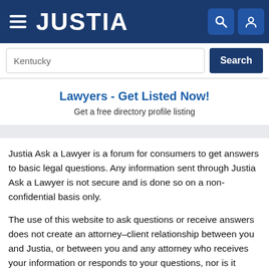JUSTIA
Kentucky
Search
Lawyers - Get Listed Now!
Get a free directory profile listing
Justia Ask a Lawyer is a forum for consumers to get answers to basic legal questions. Any information sent through Justia Ask a Lawyer is not secure and is done so on a non-confidential basis only.
The use of this website to ask questions or receive answers does not create an attorney–client relationship between you and Justia, or between you and any attorney who receives your information or responds to your questions, nor is it intended to create such a relationship. Additionally, no responses on this forum constitute legal advice, which must be tailored to the specific circumstances of each case. You should not act upon